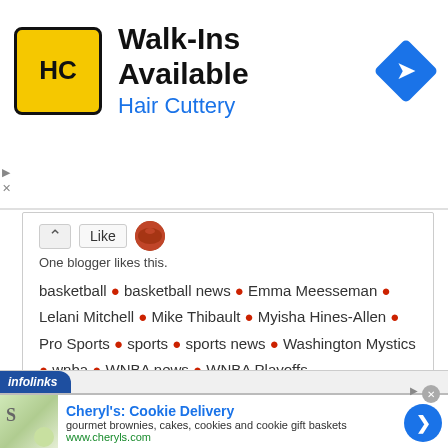[Figure (infographic): Hair Cuttery advertisement banner: HC logo in yellow square, 'Walk-Ins Available' headline, 'Hair Cuttery' in blue, blue diamond navigation icon on right]
One blogger likes this.
basketball • basketball news • Emma Meesseman • Lelani Mitchell • Mike Thibault • Myisha Hines-Allen • Pro Sports • sports • sports news • Washington Mystics • wnba • WNBA news • WNBA Playoffs
• Comment
[Figure (infographic): Infolinks ad section with bottom advertisement: Cheryl's Cookie Delivery - gourmet brownies, cakes, cookies and cookie gift baskets - www.cheryls.com]